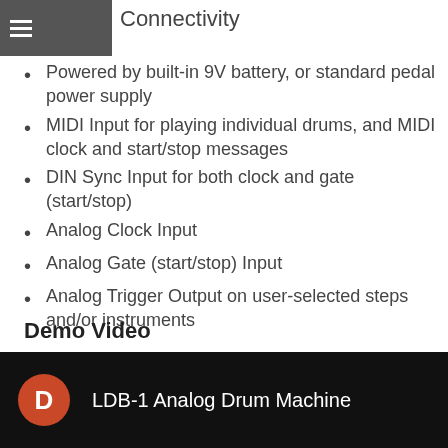≡ Connectivity
Powered by built-in 9V battery, or standard pedal power supply
MIDI Input for playing individual drums, and MIDI clock and start/stop messages
DIN Sync Input for both clock and gate (start/stop)
Analog Clock Input
Analog Gate (start/stop) Input
Analog Trigger Output on user-selected steps and/or instruments
Demo Video
[Figure (screenshot): Video thumbnail showing 'LDB-1 Analog Drum Machine' with a red circle avatar with letter D on a black background]